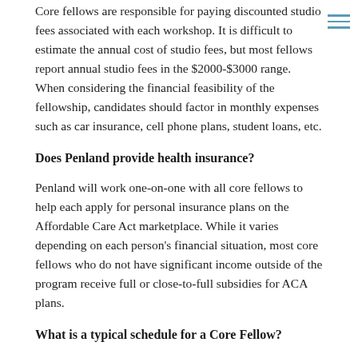Core fellows are responsible for paying discounted studio fees associated with each workshop. It is difficult to estimate the annual cost of studio fees, but most fellows report annual studio fees in the $2000-$3000 range. When considering the financial feasibility of the fellowship, candidates should factor in monthly expenses such as car insurance, cell phone plans, student loans, etc.
Does Penland provide health insurance?
Penland will work one-on-one with all core fellows to help each apply for personal insurance plans on the Affordable Care Act marketplace. While it varies depending on each person's financial situation, most core fellows who do not have significant income outside of the program receive full or close-to-full subsidies for ACA plans.
What is a typical schedule for a Core Fellow?